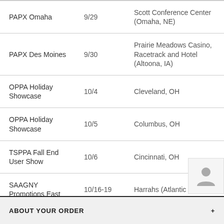| Event | Date | Location |
| --- | --- | --- |
| PAPX Omaha | 9/29 | Scott Conference Center (Omaha, NE) |
| PAPX Des Moines | 9/30 | Prairie Meadows Casino, Racetrack and Hotel (Altoona, IA) |
| OPPA Holiday Showcase | 10/4 | Cleveland, OH |
| OPPA Holiday Showcase | 10/5 | Columbus, OH |
| TSPPA Fall End User Show | 10/6 | Cincinnati, OH |
| SAAGNY Promotions East | 10/16-19 | Harrahs (Atlantic City, NJ) |
ABOUT YOUR ORDER